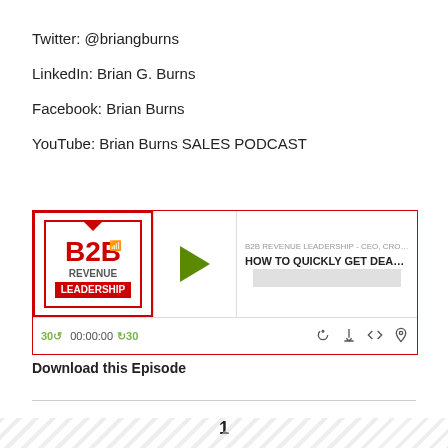Twitter: @briangburns
LinkedIn: Brian G. Burns
Facebook: Brian Burns
YouTube: Brian Burns SALES PODCAST
[Figure (screenshot): B2B Revenue Leadership podcast player widget showing episode 'HOW TO QUICKLY GET DEALS DO...' with play button, progress bar, and playback controls showing 00:00:00 timestamp]
Download this Episode
1